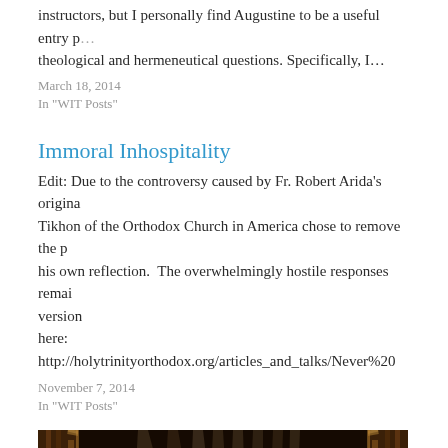instructors, but I personally find Augustine to be a useful entry po theological and hermeneutical questions. Specifically, I…
March 18, 2014
In "WIT Posts"
Immoral Inhospitality
Edit: Due to the controversy caused by Fr. Robert Arida's origina Tikhon of the Orthodox Church in America chose to remove the post his own reflection.  The overwhelmingly hostile responses remain version here: http://holytrinityorthodox.org/articles_and_talks/Never%20
November 7, 2014
In "WIT Posts"
[Figure (photo): Interior of an ornate theater or church with golden wooden architecture, dramatic lighting with vertical light beams, and an elaborate stage or altar setting. Rich warm tones of gold and brown.]